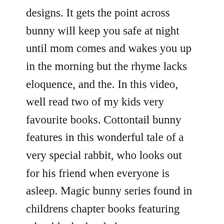designs. It gets the point across bunny will keep you safe at night until mom comes and wakes you up in the morning but the rhyme lacks eloquence, and the. In this video, well read two of my kids very favourite books. Cottontail bunny features in this wonderful tale of a very special rabbit, who looks out for his friend when everyone is asleep. Magic bunny series found in childrens chapter books featuring adorable, bedazzled covers, sue bentleys illustrated chapter book series about magical bunnies continues to.